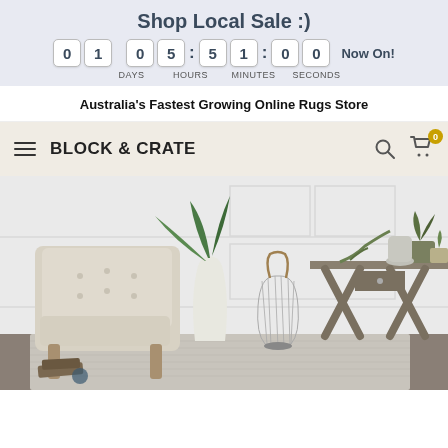Shop Local Sale :)
01 05:51:00 Now On! DAYS HOURS MINUTES SECONDS
Australia's Fastest Growing Online Rugs Store
BLOCK & CRATE
[Figure (photo): Interior home decor scene showing a tufted cream/beige accent chair on the left, a tall white ceramic vase with large tropical green leaves in the center-left, a metallic wire lantern/vase in the center, a rustic grey-brown X-leg console table on the right with potted plants and home accessories on top, against a white paneled wall with a light grey herringbone rug on the floor.]